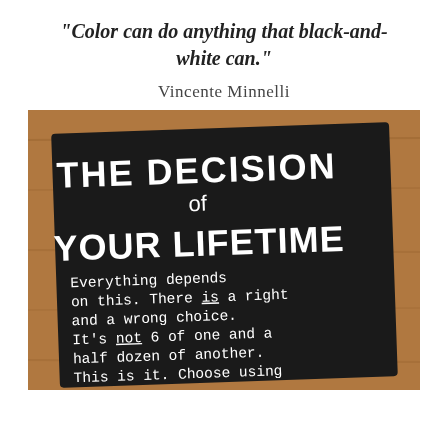“Color can do anything that black-and-white can.”
Vincente Minnelli
[Figure (photo): A black chalkboard sign on a wooden surface with white hand-lettered text reading: THE DECISION of YOUR LIFETIME. Everything depends on this. There is a right and a wrong choice. It’s not 6 of one and a half dozen of another. This is it. Choose using your animal instincts. Don’t make intellectu... (cut off at bottom)]